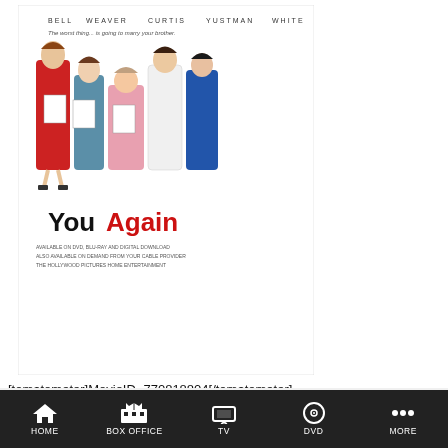[Figure (photo): Movie poster for 'You Again' showing several women standing together, with actor name credits at top (BELL, WEAVER, CURTIS, YUSTMAN, WHITE) and tagline text. The word 'You' appears in black and 'Again' in red at the bottom of the poster, with additional small text below.]
[tomatometer]MovieID=770818804[/tomatometer]
YOU AGAIN
One would think that a wedding farce starring Kristen Bell, Jamie Curtis, Sigourney Weaver, and the indomitable Betty White would good for some laughs — or at least a little sisters-are-doin'-it-for-
HOME   BOX OFFICE   TV   DVD   MORE